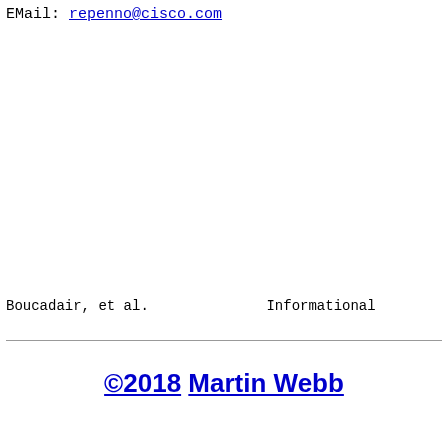EMail: repenno@cisco.com
Boucadair, et al.              Informational
©2018 Martin Webb